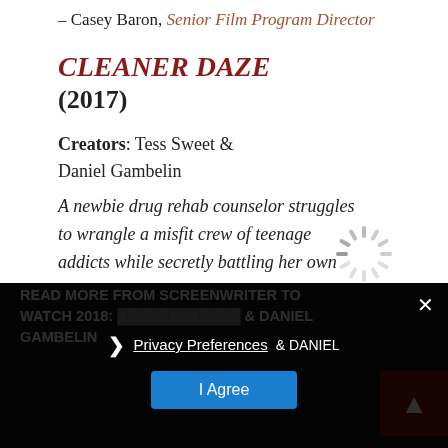– Casey Baron, Senior Film Program Director
CLEANER DAZE (2017)
Creators: Tess Sweet & Daniel Gambelin
A newbie drug rehab counselor struggles to wrangle a misfit crew of teenage addicts while secretly battling her own addiction.
[Figure (other): Loading spinner icon (grey rotating spokes)]
READ MORE FROM SCREENWRITER TO WATCH 2018: TESS SWEET & DANIEL GAMBELIN
Privacy Preferences
I Agree